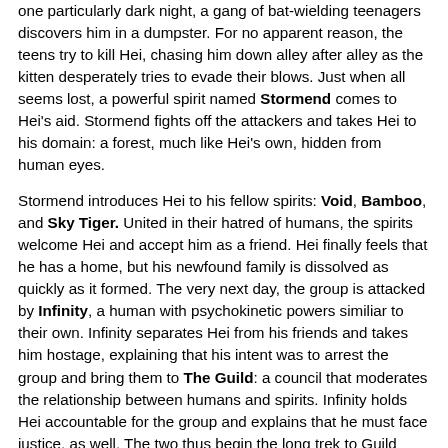one particularly dark night, a gang of bat-wielding teenagers discovers him in a dumpster. For no apparent reason, the teens try to kill Hei, chasing him down alley after alley as the kitten desperately tries to evade their blows. Just when all seems lost, a powerful spirit named Stormend comes to Hei's aid. Stormend fights off the attackers and takes Hei to his domain: a forest, much like Hei's own, hidden from human eyes.

Stormend introduces Hei to his fellow spirits: Void, Bamboo, and Sky Tiger. United in their hatred of humans, the spirits welcome Hei and accept him as a friend. Hei finally feels that he has a home, but his newfound family is dissolved as quickly as it formed. The very next day, the group is attacked by Infinity, a human with psychokinetic powers similiar to their own. Infinity separates Hei from his friends and takes him hostage, explaining that his intent was to arrest the group and bring them to The Guild: a council that moderates the relationship between humans and spirits. Infinity holds Hei accountable for the group and explains that he must face justice, as well. The two thus begin the long trek to Guild headquarters, but what begins as a simple mission slowly transforms into a journey of spiritual